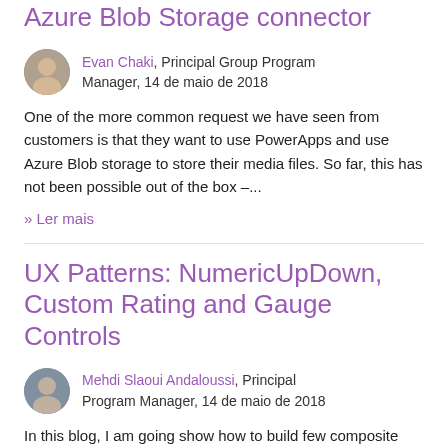Azure Blob Storage connector
Evan Chaki, Principal Group Program Manager, 14 de maio de 2018
One of the more common request we have seen from customers is that they want to use PowerApps and use Azure Blob storage to store their media files. So far, this has not been possible out of the box –...
» Ler mais
UX Patterns: NumericUpDown, Custom Rating and Gauge Controls
Mehdi Slaoui Andaloussi, Principal Program Manager, 14 de maio de 2018
In this blog, I am going show how to build few composite